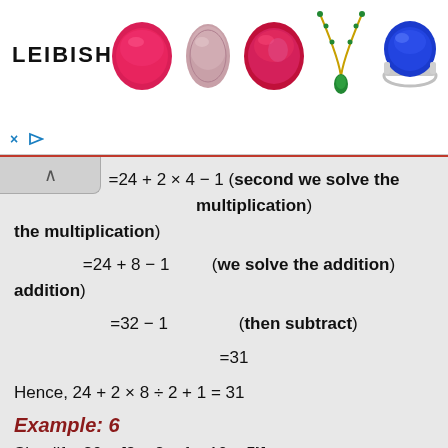[Figure (illustration): Advertisement banner for Leibish jewelry/gemstones showing the Leibish logo and images of colored gemstones (rubies, pink diamond, red gemstone) and jewelry (necklace, sapphire ring).]
Hence, 24 + 2 × 8 ÷ 2 + 1 = 31
Example: 6
Simplify: 20 + [8 × 2 + { − 10 ÷ 5}]